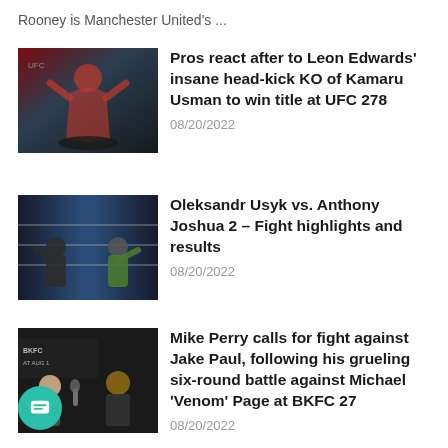Rooney is Manchester United's ...
[Figure (photo): UFC fighter celebrating victory in the ring]
Pros react after to Leon Edwards' insane head-kick KO of Kamaru Usman to win title at UFC 278
08/20/2022
[Figure (photo): Boxing match between Oleksandr Usyk and Anthony Joshua 2]
Oleksandr Usyk vs. Anthony Joshua 2 – Fight highlights and results
08/20/2022
[Figure (photo): Mike Perry and Jake Paul at a press event for BKFC 27]
Mike Perry calls for fight against Jake Paul, following his grueling six-round battle against Michael 'Venom' Page at BKFC 27
08/20/2022